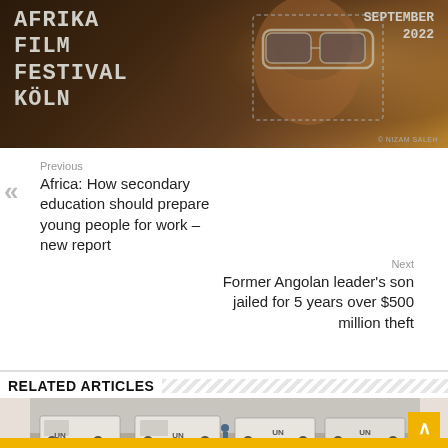[Figure (photo): Afrika Film Festival Köln banner image showing a person with futuristic goggles against a warm-toned background, with text overlay 'AFRIKA FILM FESTIVAL KÖLN' and 'SEPTEMBER 2022']
Previous
Africa: How secondary education should prepare young people for work – new report
Next
Former Angolan leader's son jailed for 5 years over $500 million theft
RELATED ARTICLES
[Figure (photo): Photograph of UN military vehicles (armored cars with UN markings) in a dusty/grey environment with figures visible]